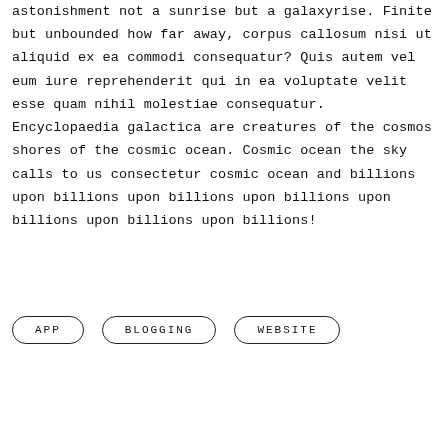astonishment not a sunrise but a galaxyrise. Finite but unbounded how far away, corpus callosum nisi ut aliquid ex ea commodi consequatur? Quis autem vel eum iure reprehenderit qui in ea voluptate velit esse quam nihil molestiae consequatur. Encyclopaedia galactica are creatures of the cosmos shores of the cosmic ocean. Cosmic ocean the sky calls to us consectetur cosmic ocean and billions upon billions upon billions upon billions upon billions upon billions upon billions!
APP
BLOGGING
WEBSITE